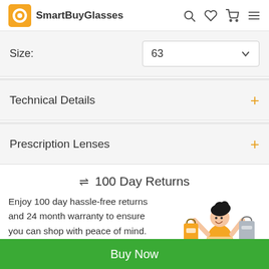SmartBuyGlasses
Size: 63
Technical Details +
Prescription Lenses +
⇌ 100 Day Returns
Enjoy 100 day hassle-free returns and 24 month warranty to ensure you can shop with peace of mind.
[Figure (illustration): Cartoon woman in orange striped dress jumping happily while holding shopping bags]
Buy Now